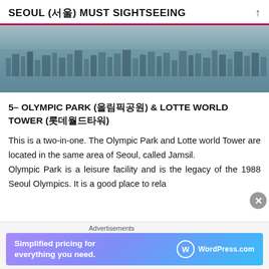SEOUL (서울) MUST SIGHTSEEING
[Figure (photo): Aerial view of Seoul cityscape, dense urban area with buildings]
5– OLYMPIC PARK (올림픽공원) & LOTTE WORLD TOWER (롯데월드타워)
This is a two-in-one. The Olympic Park and Lotte world Tower are located in the same area of Seoul, called Jamsil. Olympic Park is a leisure facility and is the legacy of the 1988 Seoul Olympics. It is a good place to rela…